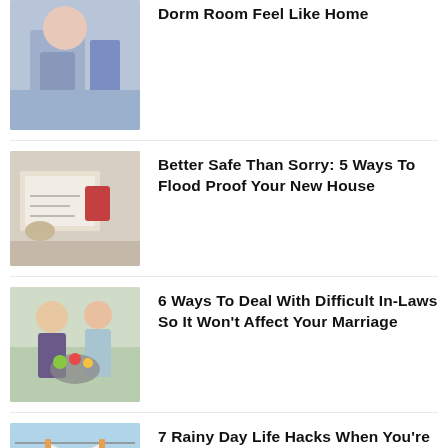[Figure (photo): Young woman smiling, carrying boxes, moving into dorm room]
Dorm Room Feel Like Home
[Figure (photo): Person writing on documents with red items on table, flood proofing concept]
Better Safe Than Sorry: 5 Ways To Flood Proof Your New House
[Figure (photo): Two women cooking together in kitchen with vegetables and pot]
6 Ways To Deal With Difficult In-Laws So It Won't Affect Your Marriage
[Figure (photo): White t-shirt hanging on clothesline with laundry basket and blue bottle]
7 Rainy Day Life Hacks When You're Planning To Do Your Laundry